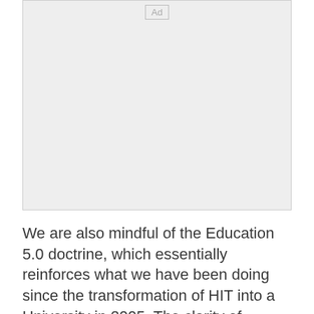[Figure (other): Advertisement placeholder box with 'Ad' label centered at top]
We are also mindful of the Education 5.0 doctrine, which essentially reinforces what we have been doing since the transformation of HIT into a University in 2005. The clarity of